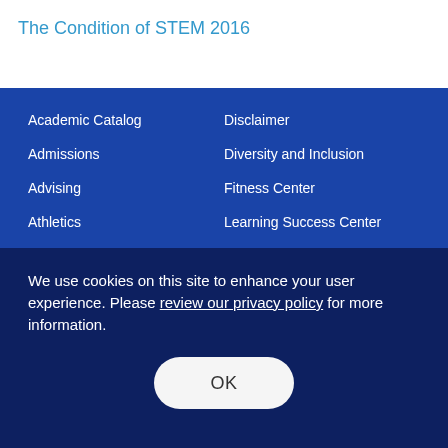The Condition of STEM 2016
Academic Catalog
Admissions
Advising
Athletics
Disclaimer
Diversity and Inclusion
Fitness Center
Learning Success Center
We use cookies on this site to enhance your user experience. Please review our privacy policy for more information.
OK